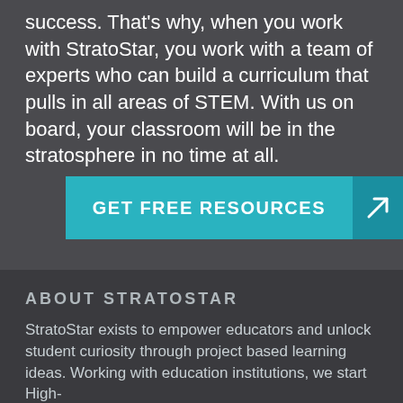success. That's why, when you work with StratoStar, you work with a team of experts who can build a curriculum that pulls in all areas of STEM. With us on board, your classroom will be in the stratosphere in no time at all.
GET FREE RESOURCES
ABOUT STRATOSTAR
StratoStar exists to empower educators and unlock student curiosity through project based learning ideas. Working with education institutions, we start High-